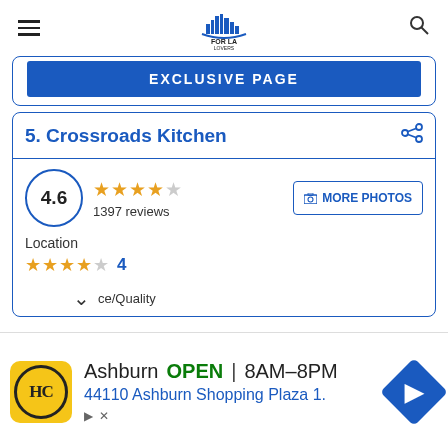[Figure (logo): FOR LA LOVERS website logo with city skyline icon]
EXCLUSIVE PAGE
5. Crossroads Kitchen
4.6  1397 reviews
MORE PHOTOS
Location
4
ce/Quality
Ashburn  OPEN  8AM–8PM
44110 Ashburn Shopping Plaza 1.